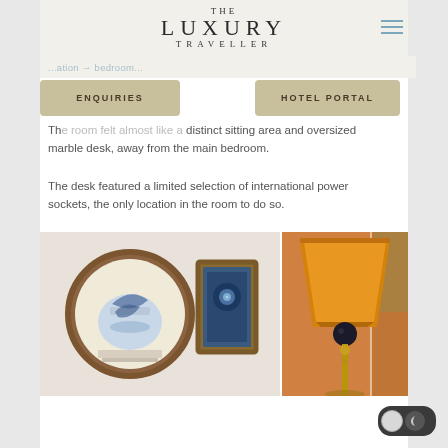THE LUXURY TRAVELLER
Th... felt almost like a... distinct sitting area and oversized marble desk, away from the main bedroom.
The desk featured a limited selection of international power sockets, the only location in the room to do so.
[Figure (photo): Two framed artworks on a white wall: a round wooden-framed circular painting with blue decorative design, and a rectangular blue-framed artwork]
[Figure (photo): Close-up of an orange/amber lamp shade on a brass floor lamp near a window with curtains]